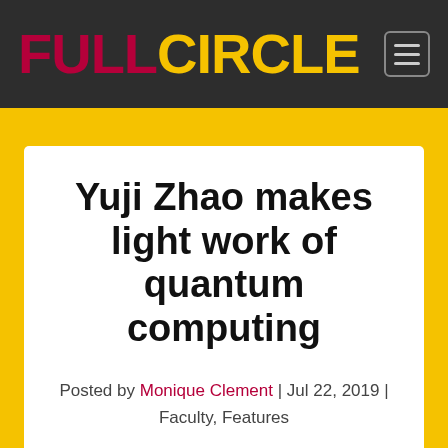FULL CIRCLE
Yuji Zhao makes light work of quantum computing
Posted by Monique Clement | Jul 22, 2019 | Faculty, Features